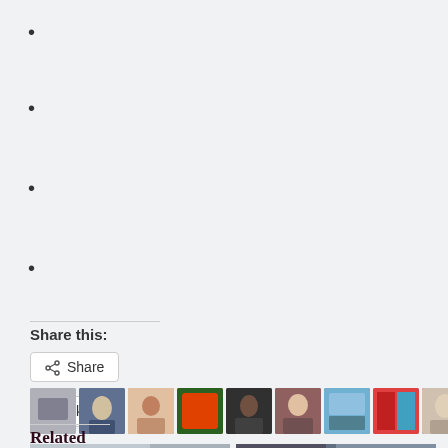•
•
•
•
Share this:
[Figure (illustration): Share button with share icon]
[Figure (illustration): Like button with star icon and 87 blogger avatar thumbnails]
87 bloggers like this.
Related
[Figure (photo): Two related article thumbnail images at bottom of page]